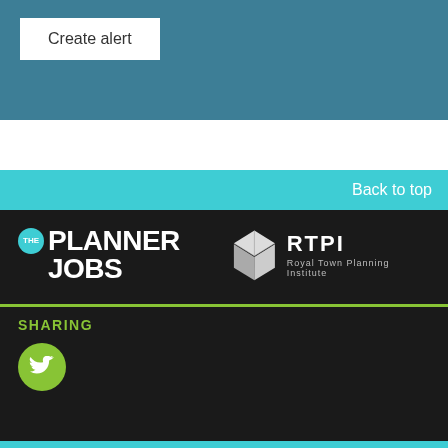Create alert
Back to top
[Figure (logo): The Planner Jobs logo with teal 'THE' circle and bold white PLANNER JOBS text]
[Figure (logo): RTPI Royal Town Planning Institute logo with white geometric cube icon]
SHARING
[Figure (logo): Green circle Twitter bird icon]